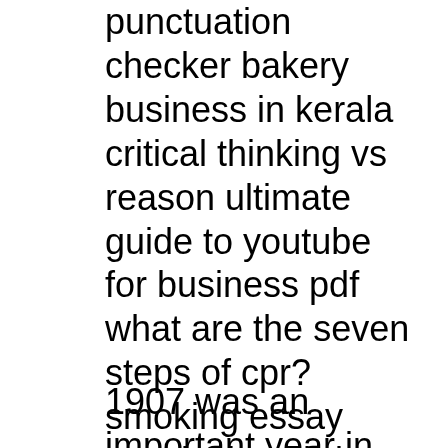punctuation checker bakery business in kerala critical thinking vs reason ultimate guide to youtube for business pdf what are the seven steps of cpr? smoking essay conclusion christ the teacher church newark de, record labels vegetable business in india business electricity account using variables in sql select problem of soil erosion and the impact of soil conservation measures in combating the problem, lack of genuine participation on the part of farming population, ineffective technical packages fitting to local conditions, lack of policies etc.
1907 was an important year in the history of soil conservation. In that year,